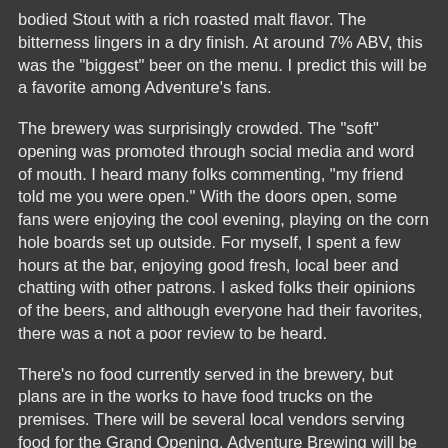bodied Stout with a rich roasted malt flavor. The bitterness lingers in a dry finish. At around 7% ABV, this was the "biggest" beer on the menu. I predict this will be a favorite among Adventure's fans.
The brewery was surprisingly crowded. The "soft" opening was promoted through social media and word of mouth. I heard many folks commenting, "my friend told me you were open." With the doors open, some fans were enjoying the cool evening, playing on the corn hole boards set up outside. For myself, I spent a few hours at the bar, enjoying good fresh, local beer and chatting with other patrons. I asked folks their opinions of the beers, and although everyone had their favorites, there was a not a poor review to be heard.
There's no food currently served in the brewery, but plans are in the works to have food trucks on the premises. There will be several local vendors serving food for the Grand Opening. Adventure Brewing will be open on Thursday and Friday evenings 6:00PM to 10:00PM, Saturdays from Noon to 10:00PM and Sundays Noon until 6:00PM. They are located at 33 Perchwood Dr, Stafford, Virginia.  I'll see you there.